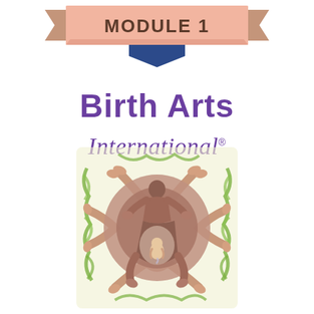[Figure (illustration): Decorative ribbon banner with 'MODULE 1' text in bold white/dark letters on a salmon/peach colored ribbon with folded ends]
[Figure (logo): Birth Arts International logo with purple bold sans-serif 'Birth Arts' text and italic script 'International' with registered trademark symbol, above a circular artistic illustration of a birthing figure with a baby inside, surrounded by hands and green foliage in warm earth tones]
[Figure (illustration): Circular mandala-like artwork showing a female figure giving birth with a fetus visible inside, surrounded by multiple sets of hands in earthy browns and pinks, with green leaf/seaweed border elements on yellow-green background]